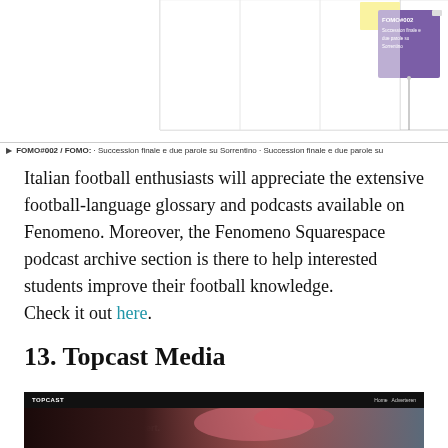[Figure (screenshot): Website navigation chart showing FOMO#002 purple sticky note with text 'Succession finale e due parole su Sorrentino' and a yellow sticky note, with grid columns]
▶ FOMO#002 / FOMO: · Succession finale e due parole su Sorrentino · Succession finale e due parole su
Italian football enthusiasts will appreciate the extensive football-language glossary and podcasts available on Fenomeno. Moreover, the Fenomeno Squarespace podcast archive section is there to help interested students improve their football knowledge.
Check it out here.
13. Topcast Media
[Figure (screenshot): Topcast Media website screenshot showing dark header with TOPCAST logo, and hero image with text 'Je bent wat je luistert.' over a landscape with red/pink smoke, with a mail icon circle on the left]